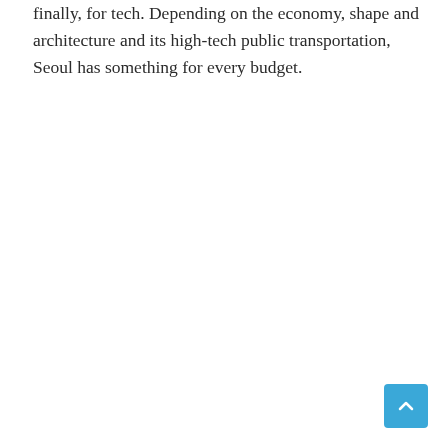finally, for tech. Depending on the economy, shape and architecture and its high-tech public transportation, Seoul has something for every budget.